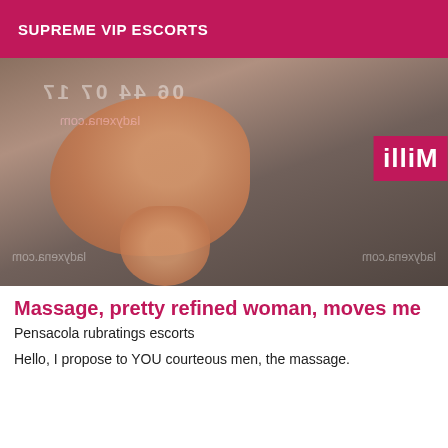SUPREME VIP ESCORTS
[Figure (photo): Mirrored/flipped photograph of a woman, with watermark text '06 44 07 17' and 'ladyxena.com' overlaid (shown mirrored). A pink 'Milli' label appears on the right side.]
Massage, pretty refined woman, moves me
Pensacola rubratings escorts
Hello, I propose to YOU courteous men, the massage.